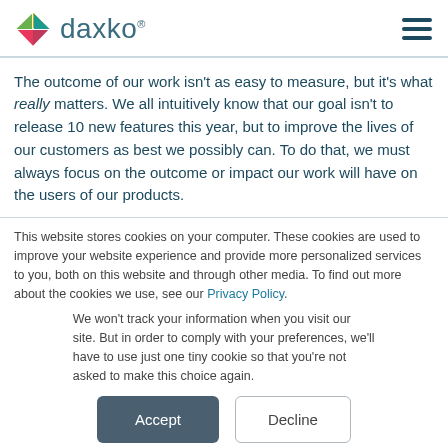daxko
The outcome of our work isn't as easy to measure, but it's what really matters. We all intuitively know that our goal isn't to release 10 new features this year, but to improve the lives of our customers as best we possibly can. To do that, we must always focus on the outcome or impact our work will have on the users of our products.
This website stores cookies on your computer. These cookies are used to improve your website experience and provide more personalized services to you, both on this website and through other media. To find out more about the cookies we use, see our Privacy Policy.
We won't track your information when you visit our site. But in order to comply with your preferences, we'll have to use just one tiny cookie so that you're not asked to make this choice again.
Accept | Decline